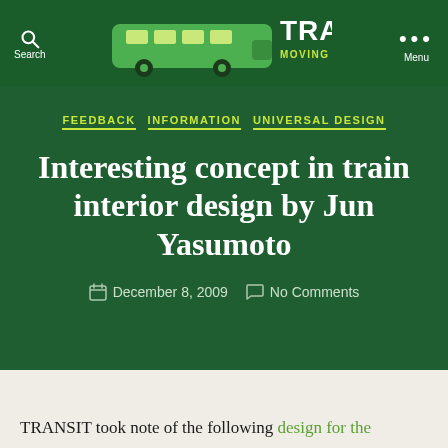TRANSIT — MOVING TRANSIT FORWARD
FEEDBACK  INFORMATION  UNIVERSAL DESIGN
Interesting concept in train interior design by Jun Yasumoto
December 8, 2009   No Comments
TRANSIT took note of the following design for the